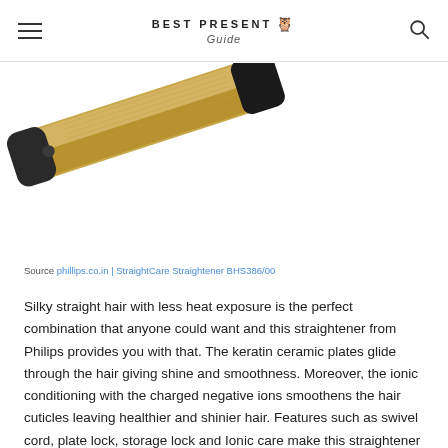BEST PRESENT Guide
[Figure (photo): A gold and black Philips hair straightener shown diagonally, partially cropped, against a white background.]
Source phillips.co.in | StraightCare Straightener BHS386/00
Silky straight hair with less heat exposure is the perfect combination that anyone could want and this straightener from Philips provides you with that. The keratin ceramic plates glide through the hair giving shine and smoothness. Moreover, the ionic conditioning with the charged negative ions smoothens the hair cuticles leaving healthier and shinier hair. Features such as swivel cord, plate lock, storage lock and Ionic care make this straightener worth considering. You can buy this